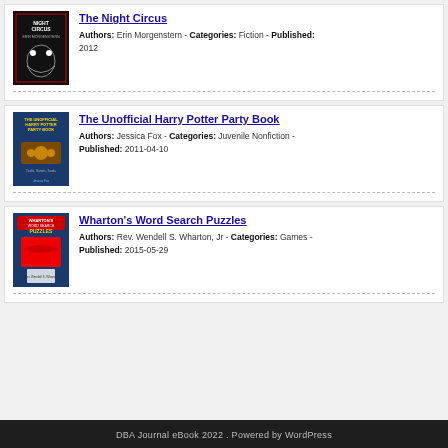The Night Circus
Authors: Erin Morgenstern - Categories: Fiction - Published: 2012
The Unofficial Harry Potter Party Book
Authors: Jessica Fox - Categories: Juvenile Nonfiction - Published: 2011-04-10
Wharton's Word Search Puzzles
Authors: Rev. Wendell S. Wharton, Jr - Categories: Games - Published: 2015-05-29
DBA Journal eBook 2022 . Powered by WordPress